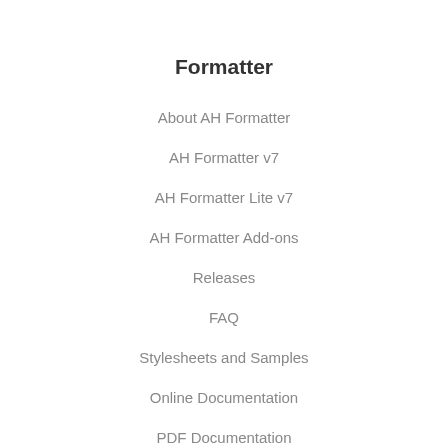Formatter
About AH Formatter
AH Formatter v7
AH Formatter Lite v7
AH Formatter Add-ons
Releases
FAQ
Stylesheets and Samples
Online Documentation
PDF Documentation
Licenses